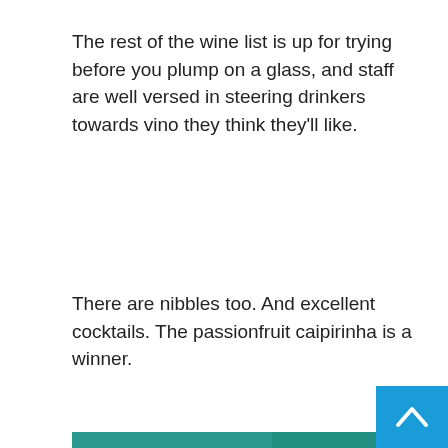The rest of the wine list is up for trying before you plump on a glass, and staff are well versed in steering drinkers towards vino they think they'll like.
There are nibbles too. And excellent cocktails. The passionfruit caipirinha is a winner.
[Figure (photo): Restaurant table setting with a charcuterie/nibbles spread including cured meats, bread, water glasses and garnishes on a reflective surface, with teal/green background colors visible.]